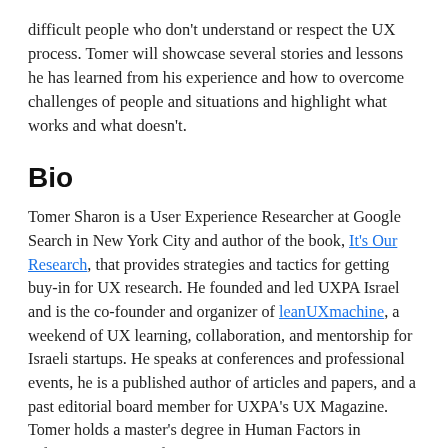difficult people who don't understand or respect the UX process. Tomer will showcase several stories and lessons he has learned from his experience and how to overcome challenges of people and situations and highlight what works and what doesn't.
Bio
Tomer Sharon is a User Experience Researcher at Google Search in New York City and author of the book, It's Our Research, that provides strategies and tactics for getting buy-in for UX research. He founded and led UXPA Israel and is the co-founder and organizer of leanUXmachine, a weekend of UX learning, collaboration, and mentorship for Israeli startups. He speaks at conferences and professional events, he is a published author of articles and papers, and a past editorial board member for UXPA's UX Magazine. Tomer holds a master's degree in Human Factors in Information Design from